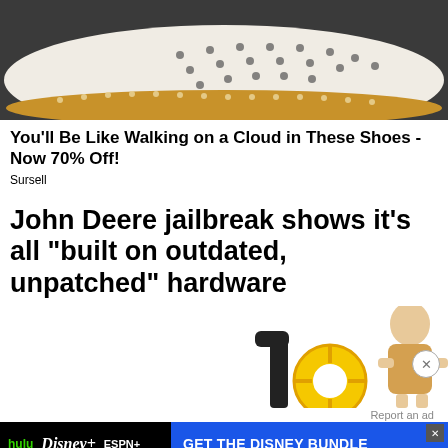[Figure (photo): Close-up photo of a white shoe with perforated leather upper and cork-style sole, on dark background]
You'll Be Like Walking on a Cloud in These Shoes - Now 70% Off!
Sursell
John Deere jailbreak shows it's all "built on outdated, unpatched" hardware
[Figure (photo): Photo of a child holding a yellow toy steering wheel, with a vacuum cleaner nozzle on the left. A close button (X in circle) is visible on the right.]
Report an ad
[Figure (infographic): Disney Bundle advertisement banner showing Hulu, Disney+, ESPN+ logos and 'GET THE DISNEY BUNDLE' call to action, with fine print about Hulu and Disney access.]